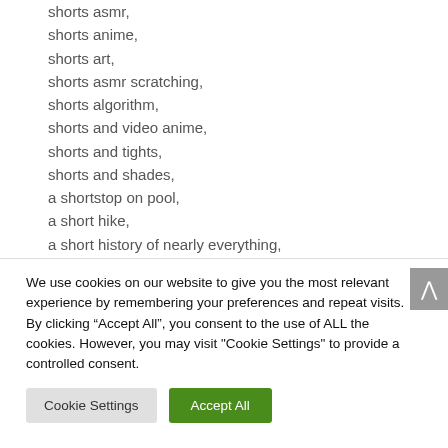shorts asmr,
shorts anime,
shorts art,
shorts asmr scratching,
shorts algorithm,
shorts and video anime,
shorts and tights,
shorts and shades,
a shortstop on pool,
a short hike,
a short history of nearly everything,
We use cookies on our website to give you the most relevant experience by remembering your preferences and repeat visits. By clicking “Accept All”, you consent to the use of ALL the cookies. However, you may visit "Cookie Settings" to provide a controlled consent.